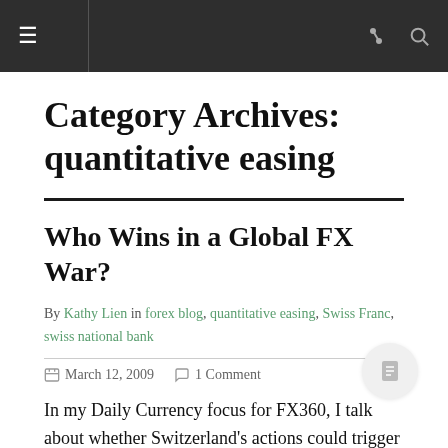≡  [link icon] [search icon]
Category Archives: quantitative easing
Who Wins in a Global FX War?
By Kathy Lien in forex blog, quantitative easing, Swiss Franc, swiss national bank
March 12, 2009  1 Comment
In my Daily Currency focus for FX360, I talk about whether Switzerland's actions could trigger a Global FX War. The ultimate winner of any FX war is gold because if other central banks weaken their currency, then the only asset that isn't facing selling